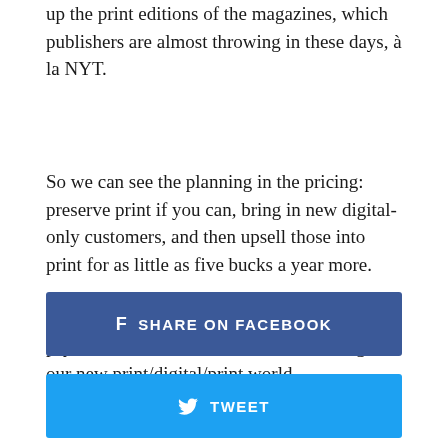up the print editions of the magazines, which publishers are almost throwing in these days, à la NYT.
So we can see the planning in the pricing: preserve print if you can, bring in new digital-only customers, and then upsell those into print for as little as five bucks a year more.
Aggregation. Customer ease. Pricing that psychs out consumers. We see the makings of our new print/digital/print world.
[Figure (other): Share on Facebook button — dark blue rectangular button with Facebook icon and text 'SHARE ON FACEBOOK']
[Figure (other): Tweet button — light blue rectangular button with Twitter bird icon and text 'TWEET']